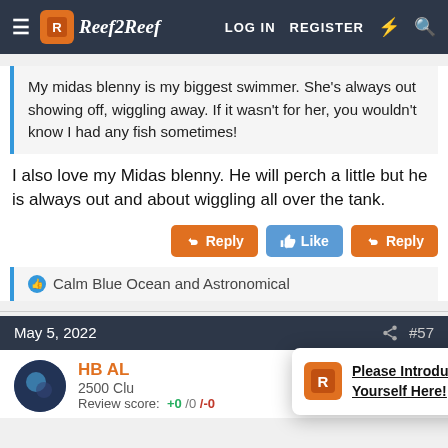Reef2Reef — LOG IN  REGISTER
My midas blenny is my biggest swimmer. She's always out showing off, wiggling away. If it wasn't for her, you wouldn't know I had any fish sometimes!
I also love my Midas blenny. He will perch a little but he is always out and about wiggling all over the tank.
Reply  Like  Reply
Calm Blue Ocean and Astronomical
May 5, 2022  #57
HB AL
2500 Clu
Review score: +0 /0 /-0
Please Introduce Yourself Here!